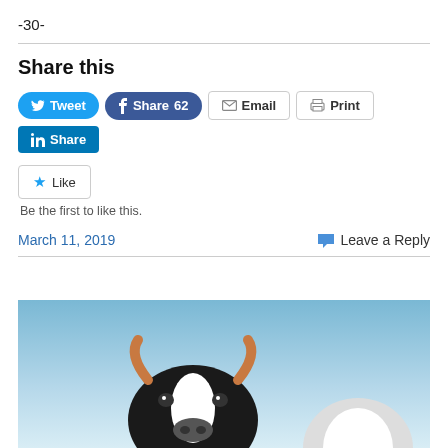-30-
Share this
Tweet | Share 62 | Email | Print | Share
Like
Be the first to like this.
March 11, 2019   Leave a Reply
[Figure (photo): A Holstein dairy cow facing the camera straight on with another cow visible in the background right, both set against a clear blue sky.]